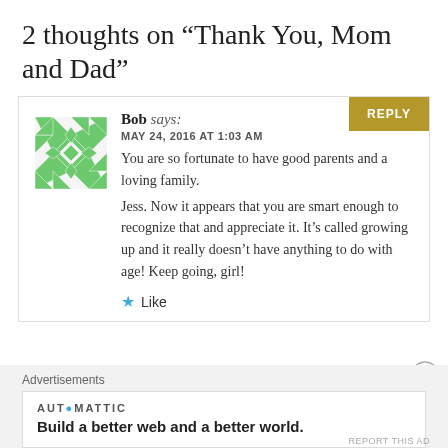2 thoughts on “Thank You, Mom and Dad”
Bob says:
MAY 24, 2016 AT 1:03 AM
You are so fortunate to have good parents and a loving family.
Jess. Now it appears that you are smart enough to recognize that and appreciate it. It’s called growing up and it really doesn’t have anything to do with age! Keep going, girl!
★ Like
Advertisements
AUT●MATTIC
Build a better web and a better world.
REPORT THIS AD